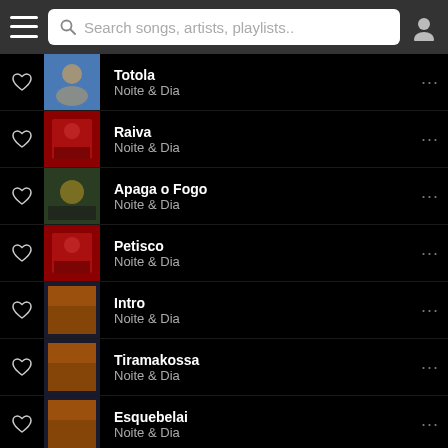Search songs, artists, playlists..
Totola
Noite & Dia
Raiva
Noite & Dia
Apaga o Fogo
Noite & Dia
Petisco
Noite & Dia
Intro
Noite & Dia
Tiramakossa
Noite & Dia
Esquebelai
Noite & Dia